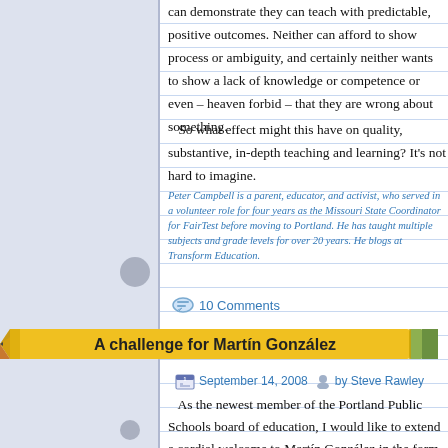can demonstrate they can teach with predictable, positive outcomes. Neither can afford to show process or ambiguity, and certainly neither wants to show a lack of knowledge or competence or even – heaven forbid – that they are wrong about something.
So what effect might this have on quality, substantive, in-depth teaching and learning? It's not hard to imagine.
Peter Campbell is a parent, educator, and activist, who served in a volunteer role for four years as the Missouri State Coordinator for FairTest before moving to Portland. He has taught multiple subjects and grade levels for over 20 years. He blogs at Transform Education.
10 Comments
A challenge for Martín González
September 14, 2008  by Steve Rawley
As the newest member of the Portland Public Schools board of education, I would like to extend a cordial welcome to Martín González in the form of a challenge on a number of critical issues, in no particular order.
High schools: advocate for comprehensive high schools in every neighborhood, with the schools offering the best variety of courses and the most qualified teachers sited in the poorest neighborhoods. This policy, the inverse of the current high school system, would rebuild enrollment and public